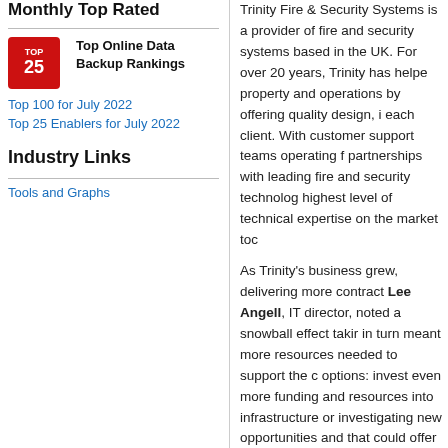Monthly Top Rated
[Figure (logo): Top 25 red logo badge]
Top Online Data Backup Rankings
Top 100 for July 2022
Top 25 Enablers for July 2022
Industry Links
Tools and Graphs
Trinity Fire & Security Systems is a provider of fire and security systems based in the UK. For over 20 years, Trinity has helped clients protect their property and operations by offering quality design, installation and service to each client. With customer support teams operating from two UK locations and partnerships with leading fire and security technology manufacturers, Trinity has the highest level of technical expertise on the market today.
As Trinity's business grew, delivering more contracts, Lee Angell, IT director, noted a snowball effect taking hold of the company. This in turn meant more resources needed to support the data center. Trinity had two options: invest even more funding and resources into their own data center infrastructure or investigating new opportunities and innovative alternatives that could offer the business greater flexibility. He ch
"Our current data center was becoming more and more costly, and hard for training and managing our own team," said Angell. "We wanted to reduce the staff effort required to maintain the data center, when our business needed more flexibility. We have a small team and therefore
Before choosing iland, Trinity also considered larger providers, but they didn't provide the agility and flexibility Angell and his team required. "They offer complete solutions, but the reality is, every customer is different with different requirements for success. iland's Infrastructure meets the customer where they are by addressing the most common pain points, while also eliminating the compromises found with o
"We did research on other providers, looking in terms of we couldn't run across obstacles, for example, it could take up to five weeks to provision the flexibility we required. We can take on contracts with confidence knowing the ability to scale up very quickly," said Angell. "W